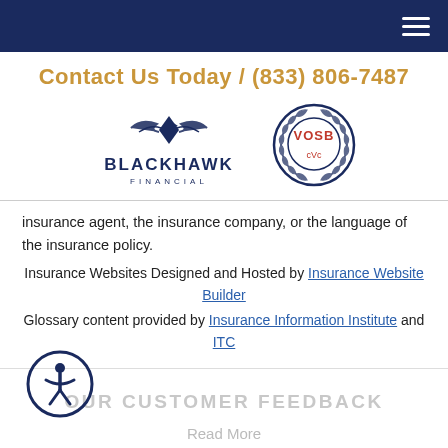Navigation bar with hamburger menu
Contact Us Today / (833) 806-7487
[Figure (logo): Blackhawk Financial logo with bird/hawk icon and VOSB (Veteran Owned Small Business) certification badge]
insurance agent, the insurance company, or the language of the insurance policy.
Insurance Websites Designed and Hosted by Insurance Website Builder
Glossary content provided by Insurance Information Institute and ITC
OUR CUSTOMER FEEDBACK
Read More